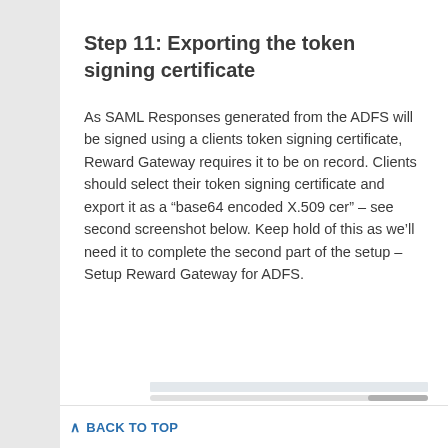Step 11: Exporting the token signing certificate
As SAML Responses generated from the ADFS will be signed using a clients token signing certificate, Reward Gateway requires it to be on record. Clients should select their token signing certificate and export it as a “base64 encoded X.509 cer” – see second screenshot below. Keep hold of this as we’ll need it to complete the second part of the setup – Setup Reward Gateway for ADFS.
BACK TO TOP